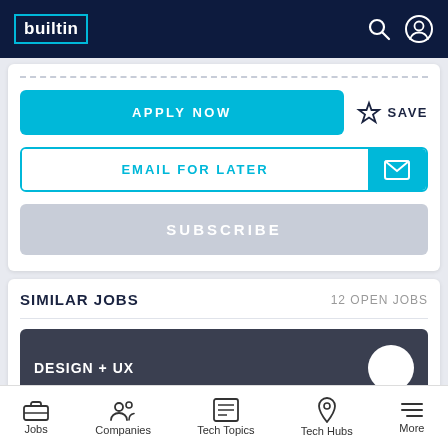builtin
APPLY NOW
SAVE
EMAIL FOR LATER
SUBSCRIBE
SIMILAR JOBS
12 OPEN JOBS
DESIGN + UX
Jobs  Companies  Tech Topics  Tech Hubs  More